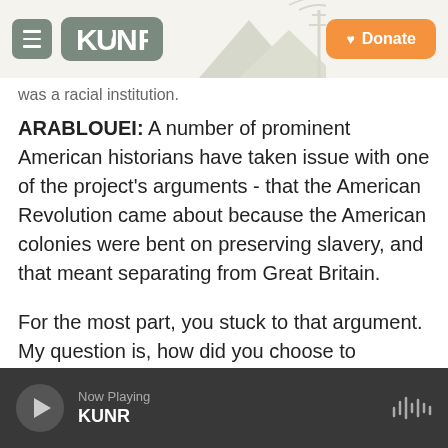KUNR — Donate
was a racial institution.
ARABLOUEI: A number of prominent American historians have taken issue with one of the project's arguments - that the American Revolution came about because the American colonies were bent on preserving slavery, and that meant separating from Great Britain.
For the most part, you stuck to that argument. My question is, how did you choose to respond to that in the book, and why did you choose to kind of stick with that point of view of that argument?
Now Playing KUNR